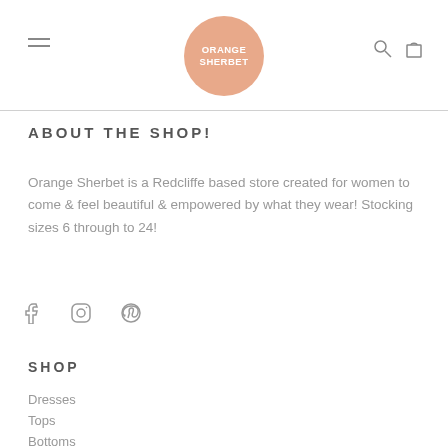[Figure (logo): Orange Sherbet logo — peach/salmon circle with white text reading ORANGE SHERBET]
ABOUT THE SHOP!
Orange Sherbet is a Redcliffe based store created for women to come & feel beautiful & empowered by what they wear! Stocking sizes 6 through to 24!
[Figure (other): Social media icons: Facebook, Instagram, Pinterest]
SHOP
Dresses
Tops
Bottoms